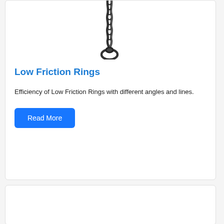[Figure (photo): A braided rope or sling forming a loop at the bottom, hanging vertically, photographed against a white background.]
Low Friction Rings
Efficiency of Low Friction Rings with different angles and lines.
Read More